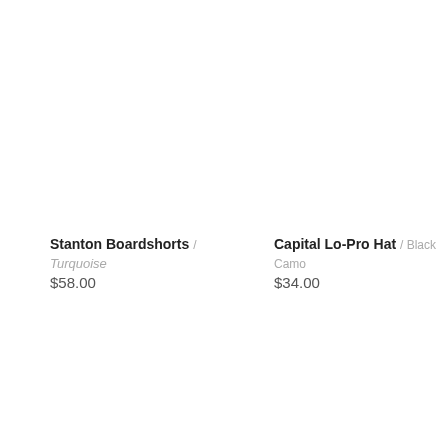Stanton Boardshorts / Turquoise $58.00
Capital Lo-Pro Hat / Black Camo $34.00